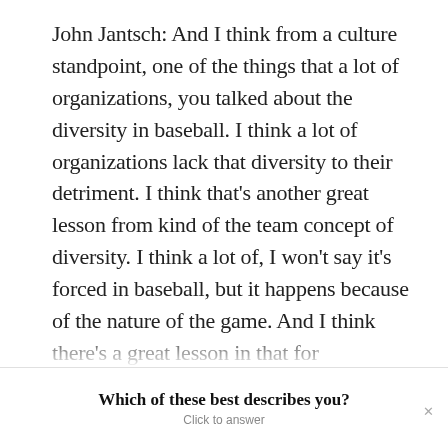John Jantsch: And I think from a culture standpoint, one of the things that a lot of organizations, you talked about the diversity in baseball. I think a lot of organizations lack that diversity to their detriment. I think that's another great lesson from kind of the team concept of diversity. I think a lot of, I won't say it's forced in baseball, but it happens because of the nature of the game. And I think there's a great lesson in that for organizations because those two styles of leadership we just talked about...
Which of these best describes you?
Click to answer